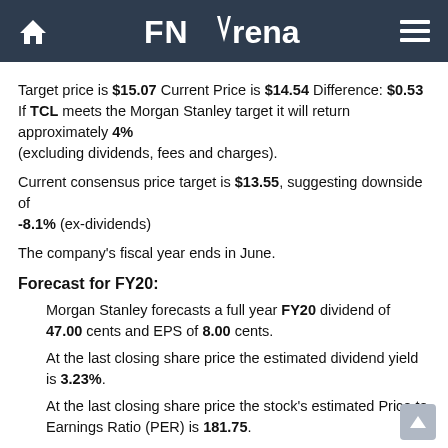FNArena
Target price is $15.07 Current Price is $14.54 Difference: $0.53 If TCL meets the Morgan Stanley target it will return approximately 4% (excluding dividends, fees and charges).
Current consensus price target is $13.55, suggesting downside of -8.1% (ex-dividends)
The company's fiscal year ends in June.
Forecast for FY20:
Morgan Stanley forecasts a full year FY20 dividend of 47.00 cents and EPS of 8.00 cents.
At the last closing share price the estimated dividend yield is 3.23%.
At the last closing share price the stock's estimated Price to Earnings Ratio (PER) is 181.75.
How do these forecasts compare to market consensus projections?
Current consensus EPS estimate is 10.5, implying annual growth of 59.1%.
Current consensus DPS estimate is 44.8, implying a prospective dividend yield of 3.08%.